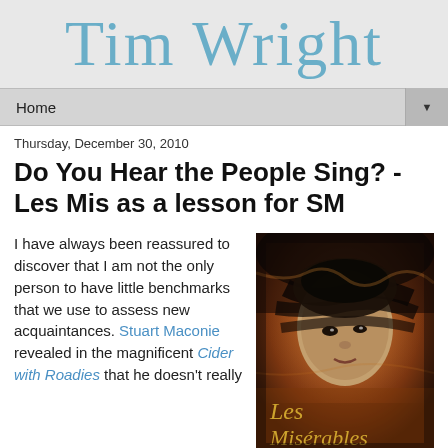Tim Wright
Home
Thursday, December 30, 2010
Do You Hear the People Sing? - Les Mis as a lesson for SM
I have always been reassured to discover that I am not the only person to have little benchmarks that we use to assess new acquaintances. Stuart Maconie revealed in the magnificent Cider with Roadies that he doesn't really
[Figure (illustration): Les Misérables musical poster showing a child's face with dark artistic brush strokes, with golden text reading 'Les Misérables' at the bottom on a warm amber/brown background]